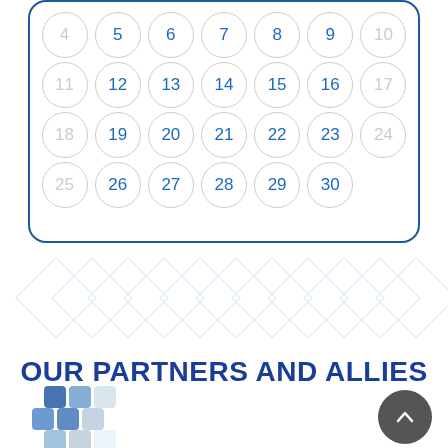[Figure (other): Calendar grid showing days 4-30 arranged in 4 rows of 7 circles each, with numbers in blue or gray inside circular outlines. Days 4, 10, 11, 17, 18, 24, 25 are grayed out, rest are blue.]
OUR PARTNERS AND ALLIES
[Figure (logo): Partial logo with blue and gray diamond/square tile pattern, partially visible at bottom left.]